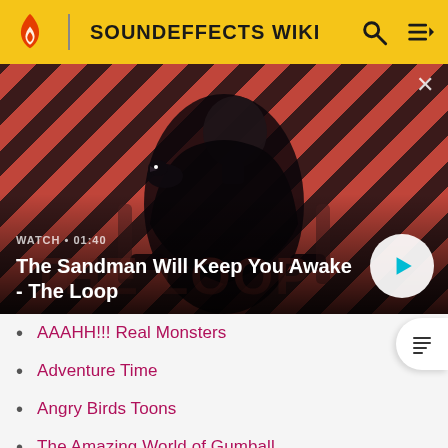SOUNDEFFECTS WIKI
[Figure (screenshot): Video banner for 'The Sandman Will Keep You Awake - The Loop' with diagonal red and dark stripe background and a dark-cloaked figure with a raven on shoulder. Shows WATCH • 01:40 label and a circular play button.]
The Sandman Will Keep You Awake - The Loop
AAAHH!!! Real Monsters
Adventure Time
Angry Birds Toons
The Amazing World of Gumball
American Dad!
Archer